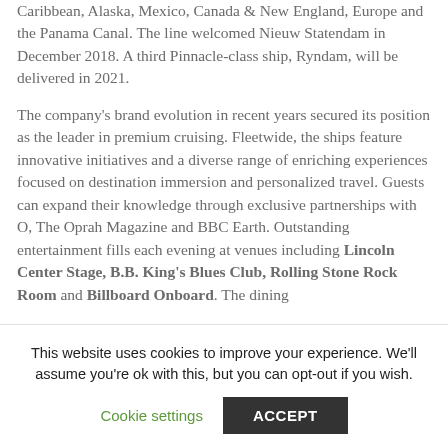Caribbean, Alaska, Mexico, Canada & New England, Europe and the Panama Canal. The line welcomed Nieuw Statendam in December 2018. A third Pinnacle-class ship, Ryndam, will be delivered in 2021.
The company's brand evolution in recent years secured its position as the leader in premium cruising. Fleetwide, the ships feature innovative initiatives and a diverse range of enriching experiences focused on destination immersion and personalized travel. Guests can expand their knowledge through exclusive partnerships with O, The Oprah Magazine and BBC Earth. Outstanding entertainment fills each evening at venues including Lincoln Center Stage, B.B. King's Blues Club, Rolling Stone Rock Room and Billboard Onboard. The dining...
This website uses cookies to improve your experience. We'll assume you're ok with this, but you can opt-out if you wish. Cookie settings ACCEPT